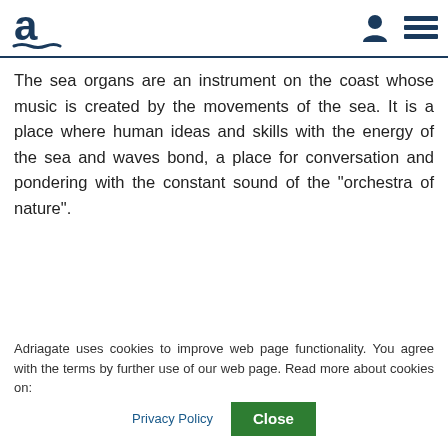Adriagate logo, user icon, menu icon
The sea organs are an instrument on the coast whose music is created by the movements of the sea. It is a place where human ideas and skills with the energy of the sea and waves bond, a place for conversation and pondering with the constant sound of the “orchestra of nature”.
See more ⌄
Guest reviews
Descriptions on the web page are subject to changes. Your commentary helps us update the texts. Thank you in advance!
Adriagate uses cookies to improve web page functionality. You agree with the terms by further use of our web page. Read more about cookies on: Privacy Policy   Close